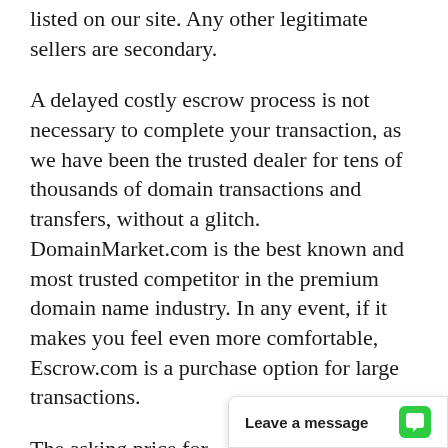listed on our site. Any other legitimate sellers are secondary.
A delayed costly escrow process is not necessary to complete your transaction, as we have been the trusted dealer for tens of thousands of domain transactions and transfers, without a glitch. DomainMarket.com is the best known and most trusted competitor in the premium domain name industry. In any event, if it makes you feel even more comfortable, Escrow.com is a purchase option for large transactions.
The asking price for NationalDebtResolution.com is based on a careful and professional appraisal by the world's leading experts on domain valuations, the inventors of ecommerce... price is explicitly certi...